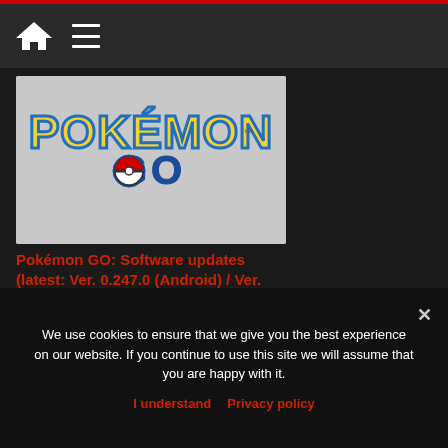Navigation header with home and menu icons
[Figure (logo): Pokémon GO logo on light gray background — yellow 'Pokémon' text with blue outline above blue 'GO' text with a Poké Ball icon]
Pokémon GO: Software updates (latest: Ver. 0.247.0 (Android) / Ver. 1.213.0 (IOS))
27 August 2022
We use cookies to ensure that we give you the best experience on our website. If you continue to use this site we will assume that you are happy with it.
I understand   Privacy policy